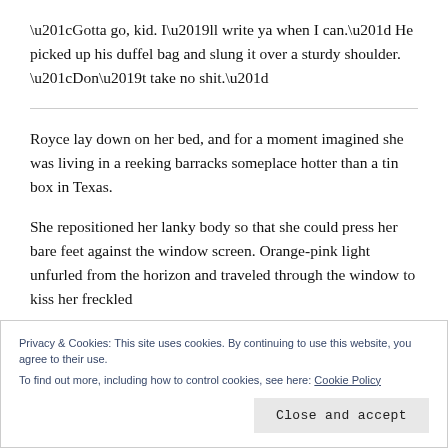“Gotta go, kid. I’ll write ya when I can.” He picked up his duffel bag and slung it over a sturdy shoulder. “Don’t take no shit.”
Royce lay down on her bed, and for a moment imagined she was living in a reeking barracks someplace hotter than a tin box in Texas.
She repositioned her lanky body so that she could press her bare feet against the window screen. Orange-pink light unfurled from the horizon and traveled through the window to kiss her freckled
Privacy & Cookies: This site uses cookies. By continuing to use this website, you agree to their use.
To find out more, including how to control cookies, see here: Cookie Policy
Close and accept